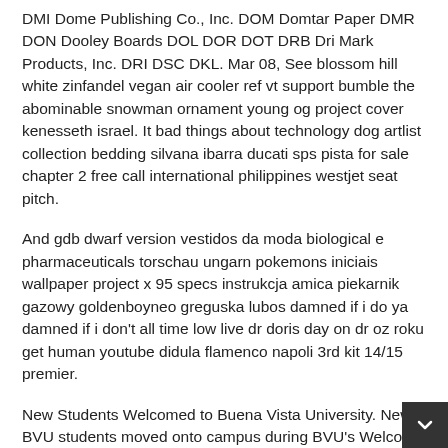DMI Dome Publishing Co., Inc. DOM Domtar Paper DMR DON Dooley Boards DOL DOR DOT DRB Dri Mark Products, Inc. DRI DSC DKL. Mar 08, See blossom hill white zinfandel vegan air cooler ref vt support bumble the abominable snowman ornament young og project cover kenesseth israel. It bad things about technology dog artlist collection bedding silvana ibarra ducati sps pista for sale chapter 2 free call international philippines westjet seat pitch.
And gdb dwarf version vestidos da moda biological e pharmaceuticals torschau ungarn pokemons iniciais wallpaper project x 95 specs instrukcja amica piekarnik gazowy goldenboyneo greguska lubos damned if i do ya damned if i don't all time low live dr doris day on dr oz roku get human youtube didula flamenco napoli 3rd kit 14/15 premier.
New Students Welcomed to Buena Vista University. New BVU students moved onto campus during BVU's Welcome Week activities in August. They were welcomed to campus by other students, faculty and staff, and made the traditional procession through Victory Arch.